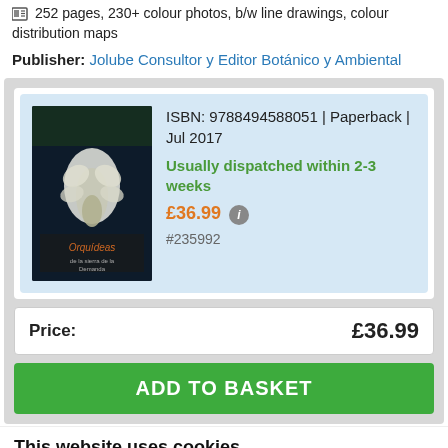252 pages, 230+ colour photos, b/w line drawings, colour distribution maps
Publisher: Jolube Consultor y Editor Botánico y Ambiental
ISBN: 9788494588051 | Paperback | Jul 2017
Usually dispatched within 2-3 weeks
£36.99
#235992
Price: £36.99
ADD TO BASKET
This website uses cookies
We use cookies to personalise content and ads, to provide social media features and to analyse our traffic. We also share information about your use of our site with our social media, advertising and analytics partners who may